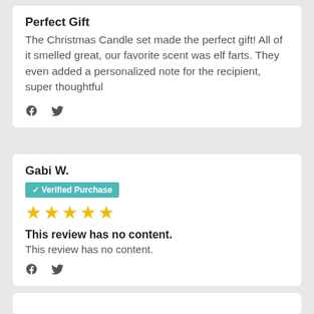Perfect Gift
The Christmas Candle set made the perfect gift! All of it smelled great, our favorite scent was elf farts. They even added a personalized note for the recipient, super thoughtful
[Facebook and Twitter icons]
Gabi W.
✓ Verified Purchase
[Figure (other): 5 yellow star rating]
This review has no content.
This review has no content.
[Facebook and Twitter icons]